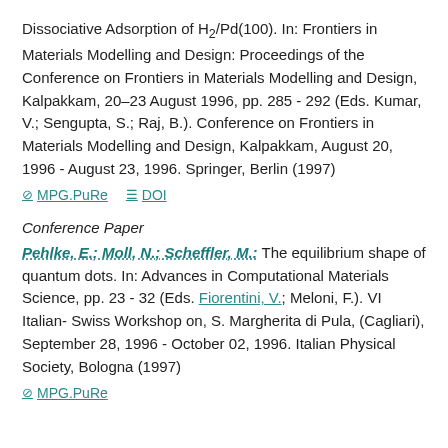Dissociative Adsorption of H₂/Pd(100). In: Frontiers in Materials Modelling and Design: Proceedings of the Conference on Frontiers in Materials Modelling and Design, Kalpakkam, 20–23 August 1996, pp. 285 - 292 (Eds. Kumar, V.; Sengupta, S.; Raj, B.). Conference on Frontiers in Materials Modelling and Design, Kalpakkam, August 20, 1996 - August 23, 1996. Springer, Berlin (1997)
MPG.PuRe   DOI
Conference Paper
Pehlke, E.; Moll, N.; Scheffler, M.: The equilibrium shape of quantum dots. In: Advances in Computational Materials Science, pp. 23 - 32 (Eds. Fiorentini, V.; Meloni, F.). VI Italian-Swiss Workshop on, S. Margherita di Pula, (Cagliari), September 28, 1996 - October 02, 1996. Italian Physical Society, Bologna (1997)
MPG.PuRe